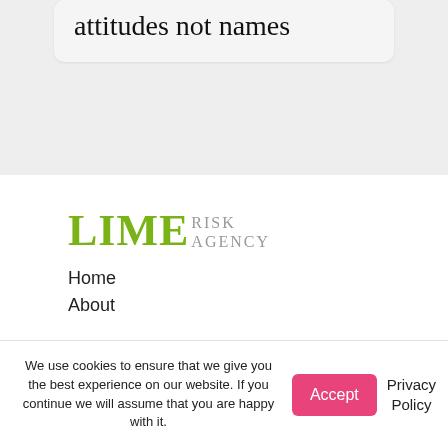attitudes not names
[Figure (logo): Lime Risk Agency logo with green LIME text and grey RISK AGENCY text]
Home
About
We use cookies to ensure that we give you the best experience on our website. If you continue we will assume that you are happy with it.